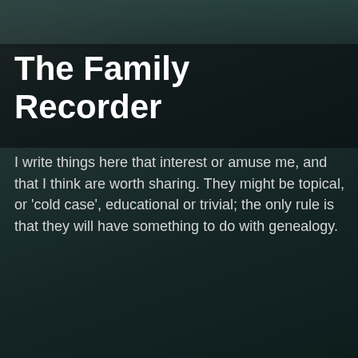The Family Recorder
I write things here that interest or amuse me, and that I think are worth sharing. They might be topical, or 'cold case', educational or trivial; the only rule is that they will have something to do with genealogy.
Home ▼
Thursday, 4 April 2013
Those places Thursday - Quarry Bank Mill, Styal, Cheshire
Quarry Bank Mill is one of the most popular sites run by the National Trust and it is